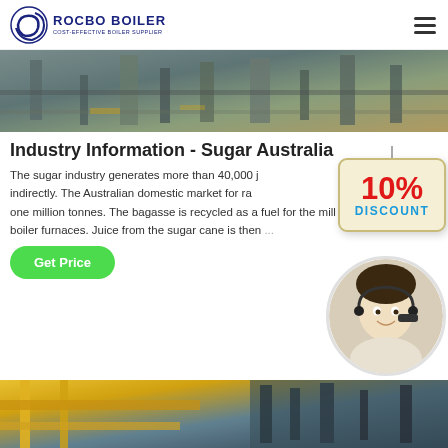[Figure (logo): Rocbo Boiler logo with blue crescent icon and text ROCBO BOILER / COST-EFFECTIVE BOILER SUPPLIER]
[Figure (photo): Industrial boiler equipment interior photo — pipes and metal structures]
Industry Information - Sugar Australia
The sugar industry generates more than 40,000 j... indirectly. The Australian domestic market for ra... one million tonnes. The bagasse is recycled as a fuel for the mill boiler furnaces. Juice from the sugar cane is then ...
[Figure (illustration): 10% DISCOUNT hanging sign badge with red text]
[Figure (photo): Customer service representative woman with headset smiling]
[Figure (photo): Industrial facility interior with yellow equipment]